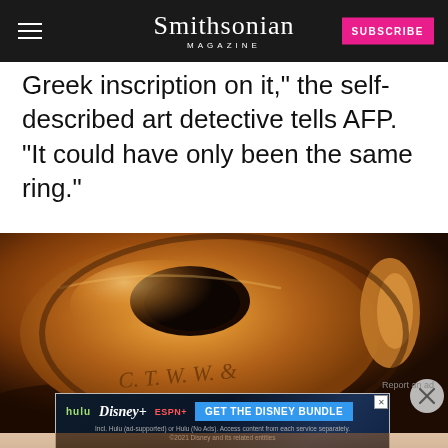Smithsonian MAGAZINE | SUBSCRIBE
Greek inscription on it," the self-described art detective tells AFP. "It could have only been the same ring."
[Figure (photo): Close-up photograph of a gold/bronze ring with engraved inscription reading 'C. T. W. W. &' on its surface, shown against a warm brown background]
Report an ad
[Figure (screenshot): Advertisement banner for The Disney Bundle featuring Hulu, Disney+, and ESPN+ logos with text 'GET THE DISNEY BUNDLE'. Small print: 'Incl. Hulu (ad-supported) or Hulu (No Ads). Access content from each service separately. ©2021 Disney and its related entities']